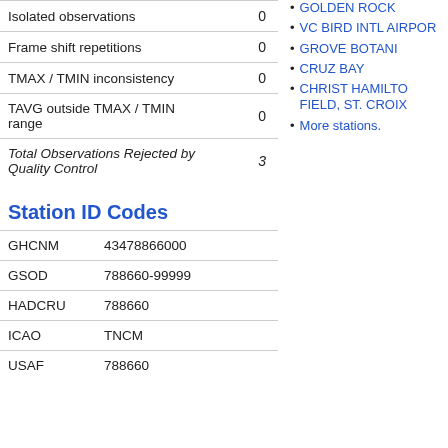|  |  |
| --- | --- |
| Isolated observations | 0 |
| Frame shift repetitions | 0 |
| TMAX / TMIN inconsistency | 0 |
| TAVG outside TMAX / TMIN range | 0 |
| Total Observations Rejected by Quality Control | 3 |
Station ID Codes
|  |  |
| --- | --- |
| GHCNM | 43478866000 |
| GSOD | 788660-99999 |
| HADCRU | 788660 |
| ICAO | TNCM |
| USAF | 788660 |
GOLDEN ROCK
VC BIRD INTL AIRPORT
GROVE BOTANI
CRUZ BAY
CHRISTHAMILT FIELD, ST. CROIX
More stations.